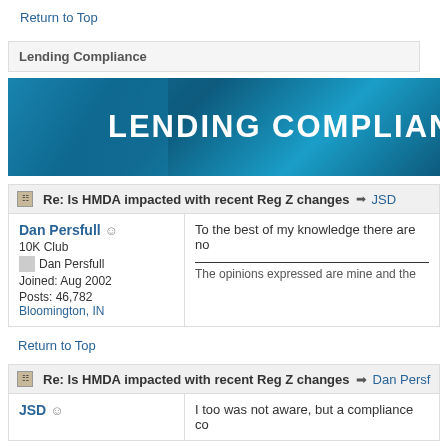Return to Top
Lending Compliance
[Figure (illustration): Lending Compliance banner with blue gradient background and white bold text reading LENDING COMPLIANCE]
Re: Is HMDA impacted with recent Reg Z changes → JSD
Dan Persfull 😊
10K Club
[Dan Persfull avatar]
Joined: Aug 2002
Posts: 46,782
Bloomington, IN
To the best of my knowledge there are no...
__________________________
The opinions expressed are mine and the...
Return to Top
Re: Is HMDA impacted with recent Reg Z changes → Dan Persf...
JSD 😊
I too was not aware, but a compliance co...